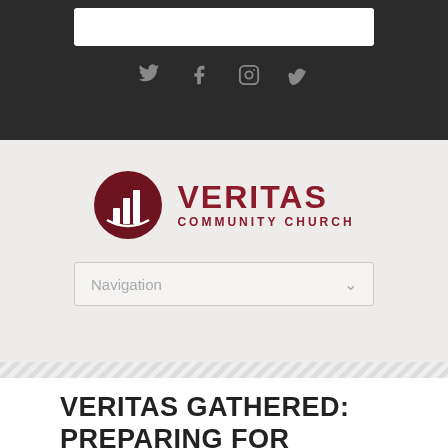[Figure (logo): Veritas Community Church logo with dark red circle containing bar chart icon and text VERITAS COMMUNITY CHURCH]
VERITAS GATHERED: PREPARING FOR SUNDAY – DECEMBER 21ST, 2014
December 18, 2014